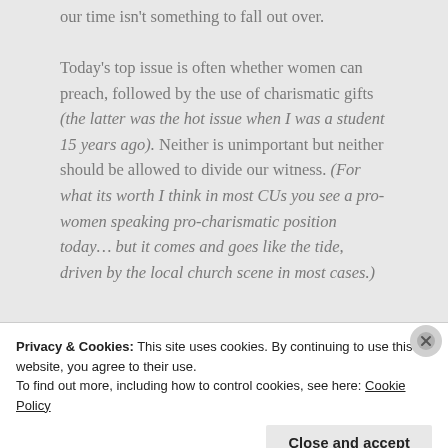our time isn't something to fall out over.

Today's top issue is often whether women can preach, followed by the use of charismatic gifts (the latter was the hot issue when I was a student 15 years ago). Neither is unimportant but neither should be allowed to divide our witness. (For what its worth I think in most CUs you see a pro-women speaking pro-charismatic position today… but it comes and goes like the tide, driven by the local church scene in most cases.)
Privacy & Cookies: This site uses cookies. By continuing to use this website, you agree to their use.
To find out more, including how to control cookies, see here: Cookie Policy
Close and accept